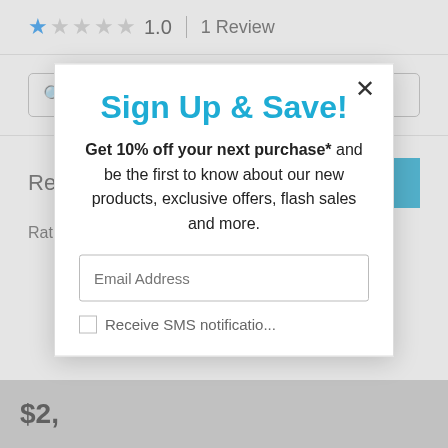1.0  |  1 Review
Search topics and reviews
Reviews
WRITE A REVIEW
Rating Snapshot
Sign Up & Save!
Get 10% off your next purchase* and be the first to know about our new products, exclusive offers, flash sales and more.
Email Address
$2,
Receive SMS notifications